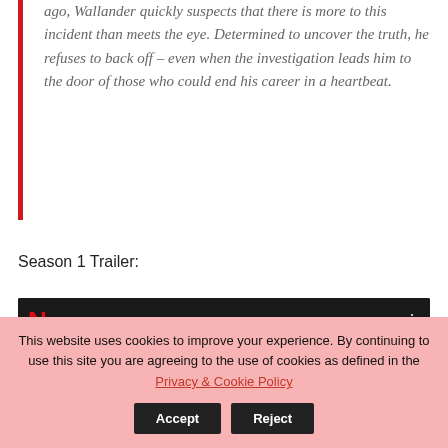ago, Wallander quickly suspects that there is more to this incident than meets the eye. Determined to uncover the truth, he refuses to back off – even when the investigation leads him to the door of those who could end his career in a heartbeat.
Season 1 Trailer:
[Figure (screenshot): YouTube thumbnail for 'Young Wallander | Official Trailer | N...' showing Netflix logo, the text NETFLIX in red on dark background, and a man's face in a dark cinematic scene]
This website uses cookies to improve your experience. By continuing to use this site you are agreeing to the use of cookies as defined in the Privacy & Cookie Policy Accept Reject